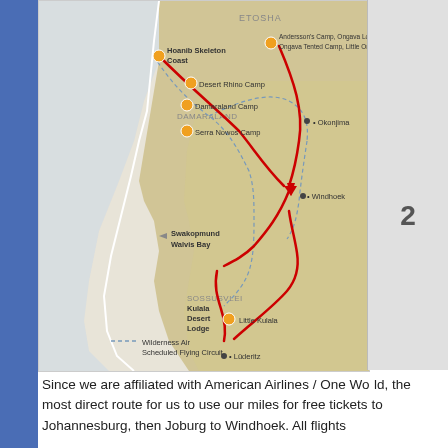[Figure (map): Map of Namibia showing travel route with red arrows and orange location markers. Locations include: Hoanib Skeleton Coast, Andersson's Camp/Ongava Lodge/Ongava Tented Camp/Little Ongava, Desert Rhino Camp, Damaraland Camp, Serra Nowos Camp, Okonjima, Swakopmund, Walvis Bay, Windhoek, Kulala Desert Lodge, Little Kulala, Sossusvlei, Luderitz. Dashed lines represent Wilderness Air Scheduled Flying Circuit.]
Since we are affiliated with American Airlines / One World, the most direct route for us to use our miles for free tickets is to fly to Johannesburg, then Joburg to Windhoek. All flights within Namibia for this program would be done by bush plane.